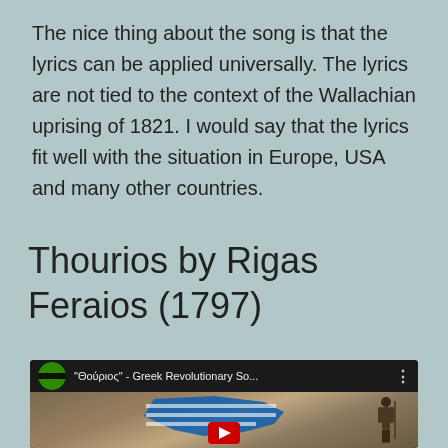The nice thing about the song is that the lyrics can be applied universally. The lyrics are not tied to the context of the Wallachian uprising of 1821. I would say that the lyrics fit well with the situation in Europe, USA and many other countries.
Thourios by Rigas Feraios (1797)
[Figure (screenshot): YouTube video thumbnail showing a video titled '"Θούριος" - Greek Revolutionary So...' with a channel icon (green circle with black band) and a map of Greece overlaid with the Greek flag colors, along with a figure of a person. A YouTube play button is partially visible at the bottom.]